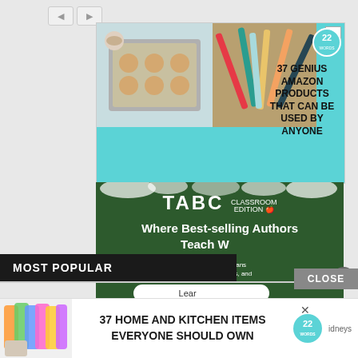[Figure (screenshot): Web page screenshot with multiple overlapping advertisements. Top ad: teal/cyan background with '37 GENIUS AMAZON PRODUCTS THAT CAN BE USED BY ANYONE' and a '22' badge. Middle ad: TABC Classroom Edition on dark green chalkboard background with text 'Where Best-selling Authors Teach W...' and 'Subscription Plans Families, Schools, and...' with a Learn button. Black video overlay partially covering the right side. A 'MOST POPULAR' dark bar. Bottom banner ad: '37 HOME AND KITCHEN ITEMS EVERYONE SHOULD OWN' with colorful image and '22' badge. A 'CLOSE' button on the right side.]